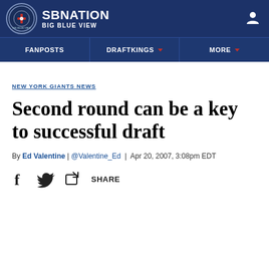SB NATION | BIG BLUE VIEW
[Figure (logo): SB Nation Big Blue View logo with circular emblem and brand name]
FANPOSTS | DRAFTKINGS | MORE
NEW YORK GIANTS NEWS
Second round can be a key to successful draft
By Ed Valentine | @Valentine_Ed | Apr 20, 2007, 3:08pm EDT
SHARE